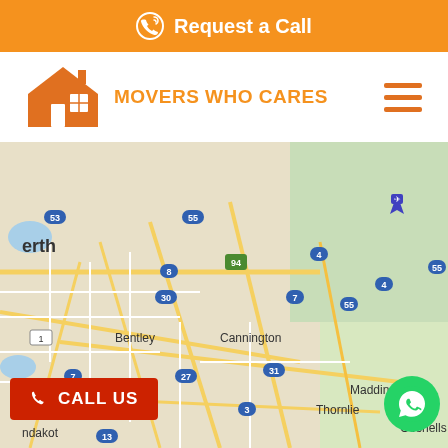Request a Call
[Figure (logo): Movers Who Cares logo with house icon in orange]
[Figure (map): Google Map showing Perth metropolitan area including suburbs: High Wycombe, Kalamunda, Forrestfield, Lesmurdie, Greenmount State Forest, Bentley, Cannington, Maddington, Thornlie, Willetton, Carmel, Pickering Brook, Canning Mills, Gosnells, Karragullen, Kelmscott, with road numbers 3, 4, 7, 8, 13, 27, 30, 31, 40, 41, 53, 55, 94, 207]
CALL US
WhatsApp button